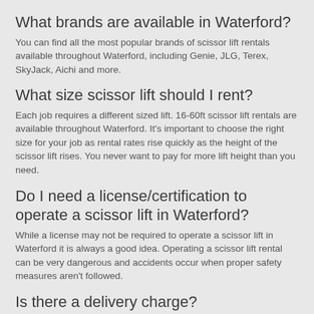What brands are available in Waterford?
You can find all the most popular brands of scissor lift rentals available throughout Waterford, including Genie, JLG, Terex, SkyJack, Aichi and more.
What size scissor lift should I rent?
Each job requires a different sized lift. 16-60ft scissor lift rentals are available throughout Waterford. It's important to choose the right size for your job as rental rates rise quickly as the height of the scissor lift rises. You never want to pay for more lift height than you need.
Do I need a license/certification to operate a scissor lift in Waterford?
While a license may not be required to operate a scissor lift in Waterford it is always a good idea. Operating a scissor lift rental can be very dangerous and accidents occur when proper safety measures aren't followed.
Is there a delivery charge?
Delivery charges will depend on the company that you select. Some companies will charge a delivery charge, while others...